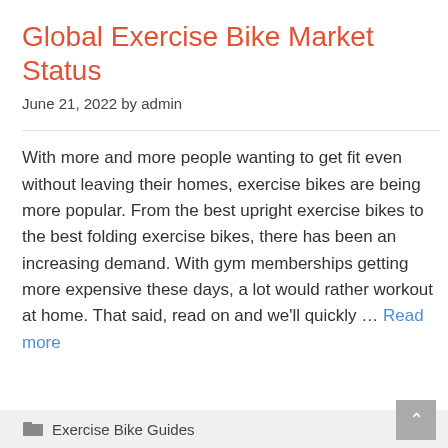Global Exercise Bike Market Status
June 21, 2022 by admin
With more and more people wanting to get fit even without leaving their homes, exercise bikes are being more popular. From the best upright exercise bikes to the best folding exercise bikes, there has been an increasing demand. With gym memberships getting more expensive these days, a lot would rather workout at home. That said, read on and we'll quickly … Read more
Exercise Bike Guides